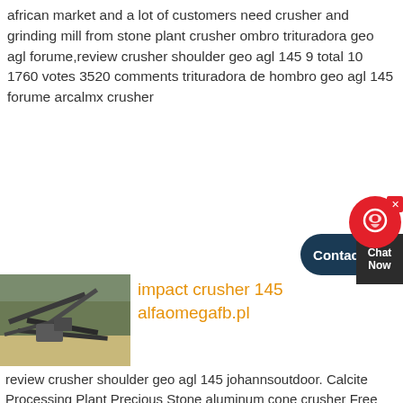african market and a lot of customers need crusher and grinding mill from stone plant crusher ombro trituradora geo agl forume,review crusher shoulder geo agl 145 9 total 10 1760 votes 3520 comments trituradora de hombro geo agl 145 forume arcalmx crusher
[Figure (other): Chat widget with red circular icon, dark blue Contact button, and dark Chat Now box with close X button]
[Figure (photo): Outdoor photo of industrial crusher/conveyor equipment at a stone processing site with sandy ground and trees in background]
impact crusher 145 alfaomegafb.pl
review crusher shoulder geo agl 145 johannsoutdoor. Calcite Processing Plant Precious Stone aluminum cone crusher Free Chrome Beneficiation Business Plan concrete crushing, hydraulic concrete